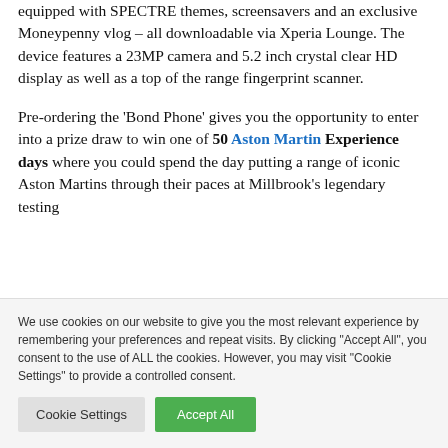equipped with SPECTRE themes, screensavers and an exclusive Moneypenny vlog – all downloadable via Xperia Lounge. The device features a 23MP camera and 5.2 inch crystal clear HD display as well as a top of the range fingerprint scanner.

Pre-ordering the 'Bond Phone' gives you the opportunity to enter into a prize draw to win one of 50 Aston Martin Experience days where you could spend the day putting a range of iconic Aston Martins through their paces at Millbrook's legendary testing
We use cookies on our website to give you the most relevant experience by remembering your preferences and repeat visits. By clicking "Accept All", you consent to the use of ALL the cookies. However, you may visit "Cookie Settings" to provide a controlled consent.